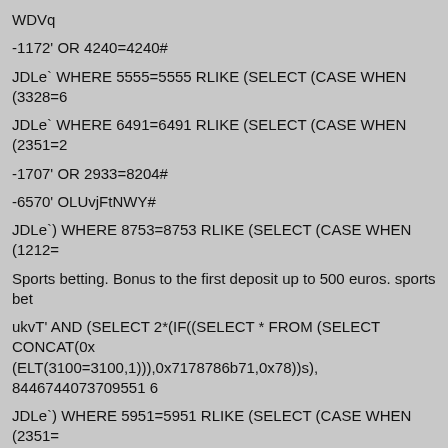WDVq
-1172' OR 4240=4240#
JDLe` WHERE 5555=5555 RLIKE (SELECT (CASE WHEN (3328=6…
JDLe` WHERE 6491=6491 RLIKE (SELECT (CASE WHEN (2351=2…
-1707' OR 2933=8204#
-6570' OLUvjFtNWY#
JDLe`) WHERE 8753=8753 RLIKE (SELECT (CASE WHEN (1212=…
Sports betting. Bonus to the first deposit up to 500 euros. sports bet…
ukvT' AND (SELECT 2*(IF((SELECT * FROM (SELECT CONCAT(0x… (ELT(3100=3100,1))),0x7178786b71,0x78))s), 8446744073709551…
JDLe`) WHERE 5951=5951 RLIKE (SELECT (CASE WHEN (2351=…
ukvT' OR (SELECT 2*(IF((SELECT * FROM (SELECT CONCAT(0x… (ELT(1593=1593,1))),0x7178786b71,0x78))s), 8446744073709551…
JDLe') AND MAKE_SET(2753=6202,6202)-- WiDG
…AND FROM (SELECT CONCAT(0x…